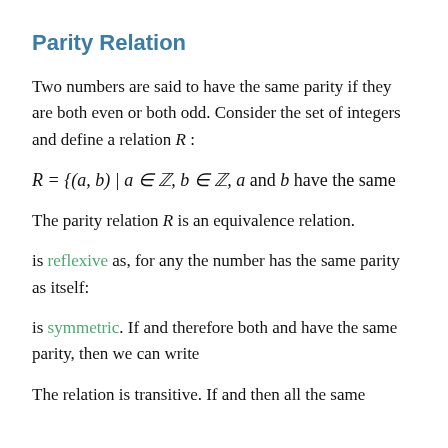Parity Relation
Two numbers are said to have the same parity if they are both even or both odd. Consider the set of integers and define a relation R :
The parity relation R is an equivalence relation.
is reflexive as, for any the number has the same parity as itself:
is symmetric. If and therefore both and have the same parity, then we can write
The relation is transitive. If and then all the same